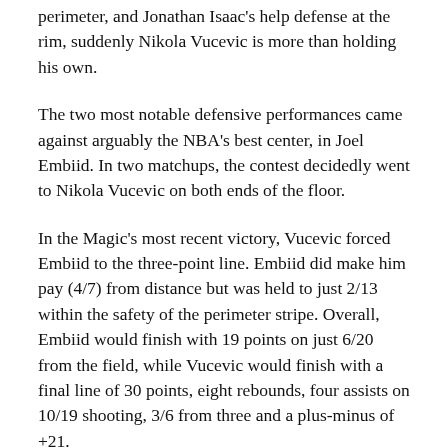perimeter, and Jonathan Isaac's help defense at the rim, suddenly Nikola Vucevic is more than holding his own.
The two most notable defensive performances came against arguably the NBA's best center, in Joel Embiid. In two matchups, the contest decidedly went to Nikola Vucevic on both ends of the floor.
In the Magic's most recent victory, Vucevic forced Embiid to the three-point line. Embiid did make him pay (4/7) from distance but was held to just 2/13 within the safety of the perimeter stripe. Overall, Embiid would finish with 19 points on just 6/20 from the field, while Vucevic would finish with a final line of 30 points, eight rebounds, four assists on 10/19 shooting, 3/6 from three and a plus-minus of +21.
But hey, it was Jimmy Butler's first game. Embiid enjoyed a bit more success in Philadelphia in the 76ers win with 32 points and ten rebounds on 13/26 shooting. However, his plus-minus of -8 diminished his effectiveness in a game that saw Nikola Vucevic with 27 points, 13 rebounds and 12